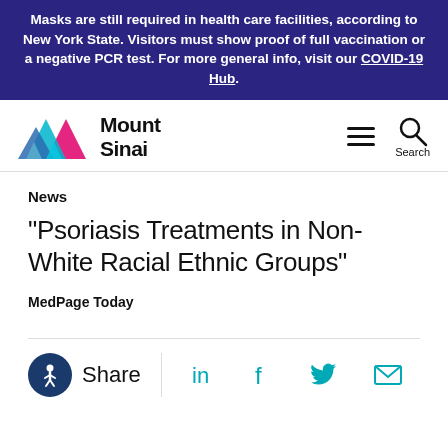Masks are still required in health care facilities, according to New York State. Visitors must show proof of full vaccination or a negative PCR test. For more general info, visit our COVID-19 Hub.
[Figure (logo): Mount Sinai logo with colorful mountain peaks (blue, cyan, pink) and bold text 'Mount Sinai']
News
"Psoriasis Treatments in Non-White Racial Ethnic Groups"
MedPage Today
[Figure (other): Share bar with accessibility icon, Share text, LinkedIn, Facebook, Twitter, and Email icons]